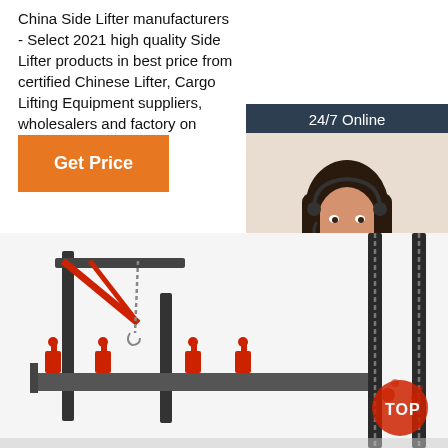China Side Lifter manufacturers - Select 2021 high quality Side Lifter products in best price from certified Chinese Lifter, Cargo Lifting Equipment suppliers, wholesalers and factory on Made-in-China.com
Get Price
[Figure (photo): Sidebar widget with '24/7 Online' header, photo of smiling woman with headset, 'Click here for free chat!' text, and orange QUOTATION button]
[Figure (photo): Bottom portion of page showing industrial side lifter equipment with red components, metal frame structure and chain mechanism]